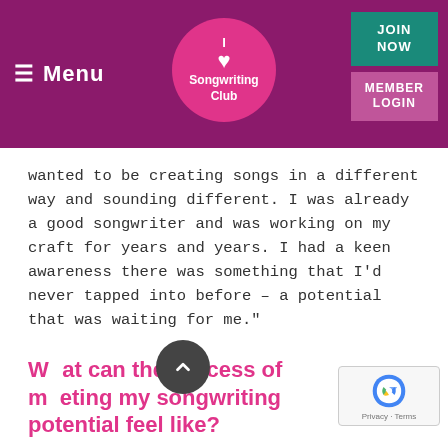≡ Menu | I ♥ Songwriting Club | JOIN NOW | MEMBER LOGIN
wanted to be creating songs in a different way and sounding different. I was already a good songwriter and was working on my craft for years and years. I had a keen awareness there was something that I'd never tapped into before – a potential that was waiting for me."
What can the process of meeting my songwriting potential feel like?